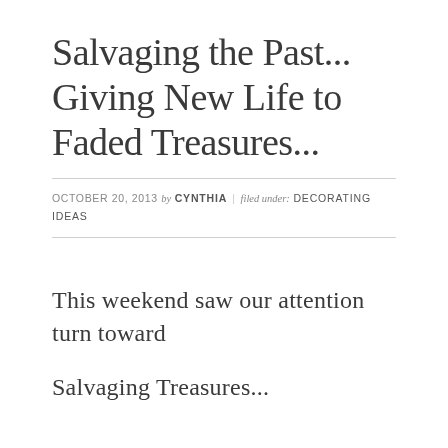Salvaging the Past... Giving New Life to Faded Treasures...
OCTOBER 20, 2013 by CYNTHIA | filed under: DECORATING IDEAS
This weekend saw our attention turn toward
Salvaging Treasures...